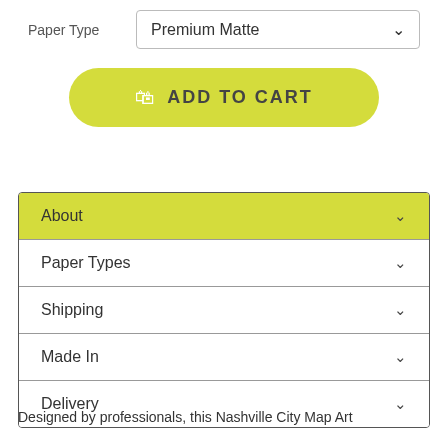Paper Type
Premium Matte
ADD TO CART
About
Paper Types
Shipping
Made In
Delivery
Designed by professionals, this Nashville City Map Art